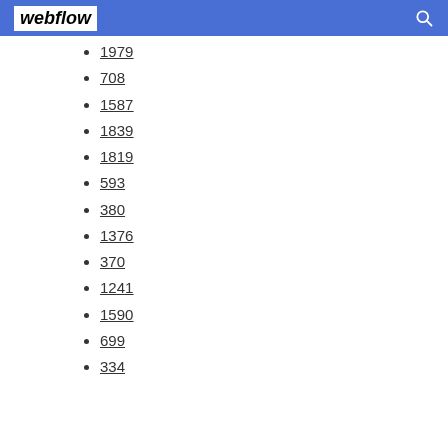webflow
1979
708
1587
1839
1819
593
380
1376
370
1241
1590
699
334 (partial)